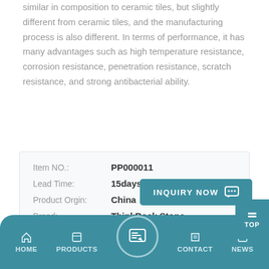similar in composition to ceramic tiles, but slightly different from ceramic tiles, and the manufacturing process is also different. In terms of performance, it has many advantages such as high temperature resistance, corrosion resistance, penetration resistance, scratch resistance, and strong antibacterial ability.
| Field | Value |
| --- | --- |
| Item NO.: | PP000011 |
| Lead Time: | 15days |
| Product Orgin: | China |
| Brand: | ThinkRock Stone |
| Shipping Port: | Xiamen Port |
| Payment: | T/T |
| Order(MOQ): | 50sqm |
| Color: | white |
INQUIRY NOW
HOME | PRODUCTS | CONTACT | NEWS